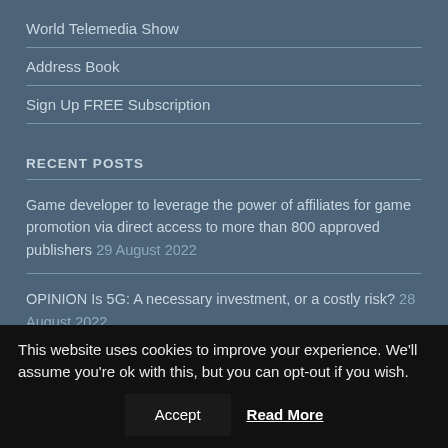World Telemedia Show
Address Book
Sign Up FREE Subscription
RECENT POSTS
Game developer to leverage the power of affiliates for game promotion via direct access to more than 800 approved publishers 29 August 2022
OPINION Is 5G: A necessary investment, or a costly risk? 28 August 2022
This website uses cookies to improve your experience. We'll assume you're ok with this, but you can opt-out if you wish.